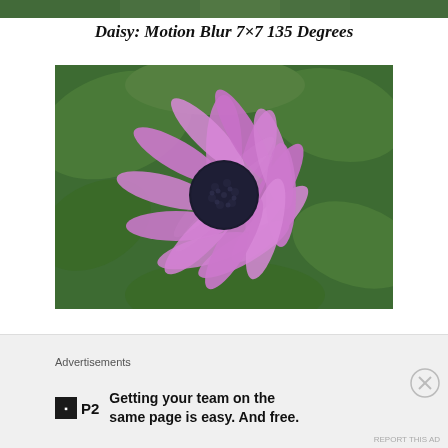[Figure (photo): Top strip of green foliage, partially visible at top of page]
Daisy: Motion Blur 7×7 135 Degrees
[Figure (photo): A purple/pink daisy flower with a dark blue-black center disc, photographed against a blurred green leafy background. The image has a motion blur effect applied at 135 degrees.]
Advertisements
P2  Getting your team on the same page is easy. And free.